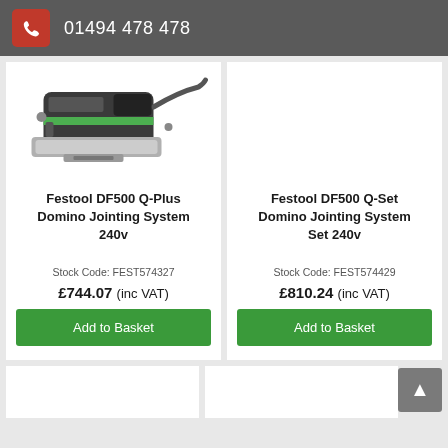01494 478 478
[Figure (photo): Festool DF500 jointing tool, partially visible at top of left product card]
Festool DF500 Q-Plus Domino Jointing System 240v
Stock Code: FEST574327
£744.07 (inc VAT)
Add to Basket
Festool DF500 Q-Set Domino Jointing System Set 240v
Stock Code: FEST574429
£810.24 (inc VAT)
Add to Basket